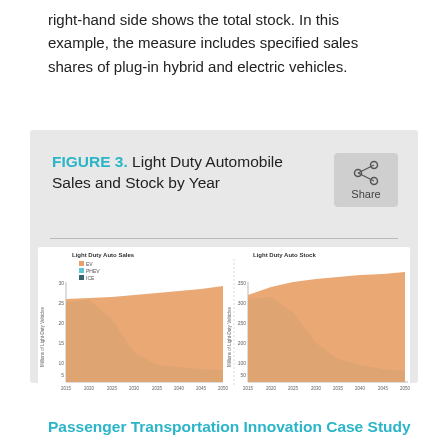right-hand side shows the total stock. In this example, the measure includes specified sales shares of plug-in hybrid and electric vehicles.
FIGURE 3. Light Duty Automobile Sales and Stock by Year
[Figure (area-chart): Two stacked area charts side by side. Left: Light Duty Auto Sales (Millions of Light-Duty Vehicles) from 2015 to 2050 showing EV (orange), PHEV (light blue), ICE (dark teal) stacked areas. Right: Light Duty Auto Stock from 2015 to 2050 with same color categories. Both show ICE declining and EV growing over the period.]
Passenger Transportation Innovation Case Study